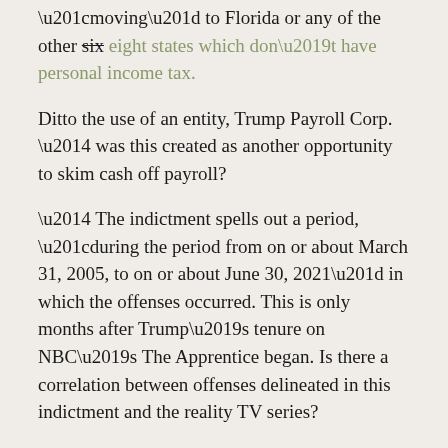“moving” to Florida or any of the other six eight states which don’t have personal income tax.
Ditto the use of an entity, Trump Payroll Corp. — was this created as another opportunity to skim cash off payroll?
— The indictment spells out a period, “during the period from on or about March 31, 2005, to on or about June 30, 2021” in which the offenses occurred. This is only months after Trump’s tenure on NBC’s The Apprentice began. Is there a correlation between offenses delineated in this indictment and the reality TV series?
Is there something in any of the records related to The Apprentice which is an MGM property